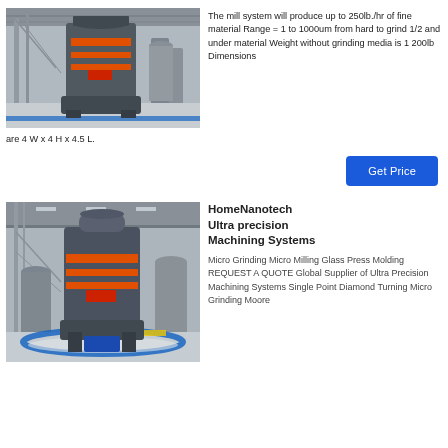[Figure (photo): Industrial mill machine in a large factory/warehouse setting, showing a large vertical grinding mill with orange accents on the press components, industrial ceiling and steel structure visible in background.]
The mill system will produce up to 250lb./hr of fine material Range = 1 to 1000um from hard to grind 1/2 and under material Weight without grinding media is 1 200lb Dimensions are 4 W x 4 H x 4.5 L.
Get Price
[Figure (photo): Industrial milling machine in a large warehouse/factory setting, showing a vertical grinding mill with orange accents and blue flooring, similar industrial environment.]
HomeNanotech Ultra precision Machining Systems
Micro Grinding Micro Milling Glass Press Molding REQUEST A QUOTE Global Supplier of Ultra Precision Machining Systems Single Point Diamond Turning Micro Grinding Moore